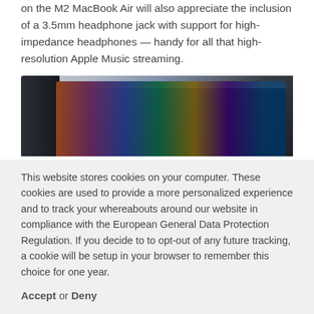on the M2 MacBook Air will also appreciate the inclusion of a 3.5mm headphone jack with support for high-impedance headphones — handy for all that high-resolution Apple Music streaming.
[Figure (photo): Photo of a laptop computer (MacBook) viewed from above/angle showing the screen displaying colorful content, bezel and keyboard visible]
This website stores cookies on your computer. These cookies are used to provide a more personalized experience and to track your whereabouts around our website in compliance with the European General Data Protection Regulation. If you decide to to opt-out of any future tracking, a cookie will be setup in your browser to remember this choice for one year.
Accept or Deny